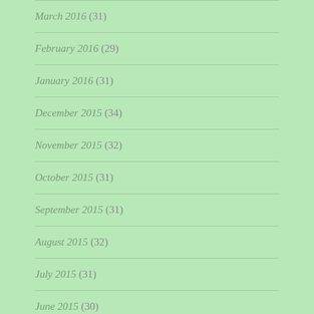March 2016 (31)
February 2016 (29)
January 2016 (31)
December 2015 (34)
November 2015 (32)
October 2015 (31)
September 2015 (31)
August 2015 (32)
July 2015 (31)
June 2015 (30)